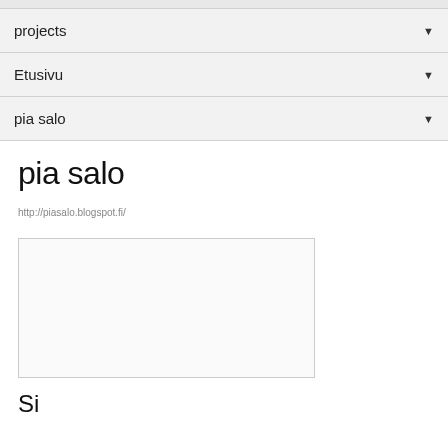projects ▼
Etusivu ▼
pia salo ▼
pia salo
http://piasalo.blogspot.fi/
[Figure (other): Empty white image box with border]
Si